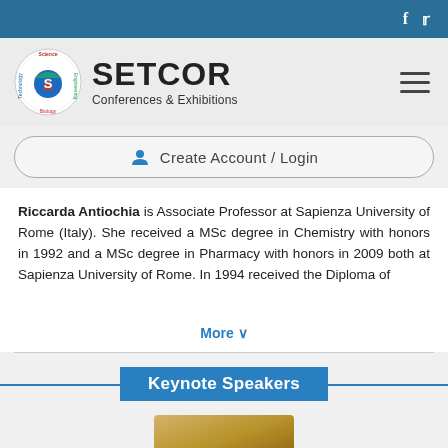f  (social media icons - Facebook and Twitter)
[Figure (logo): SETCOR Conferences & Exhibitions logo with circular Science/Engineering/Technology/Biology emblem and brand name]
Create Account / Login
Riccarda Antiochia is Associate Professor at Sapienza University of Rome (Italy). She received a MSc degree in Chemistry with honors in 1992 and a MSc degree in Pharmacy with honors in 2009 both at Sapienza University of Rome. In 1994 received the Diploma of
More ∨
Keynote Speakers
[Figure (photo): Partial photo of a keynote speaker at the bottom of the page]